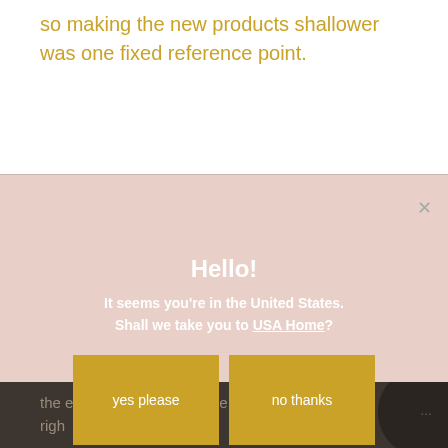so making the new products shallower was one fixed reference point.
[Figure (screenshot): A modal dialog overlay with a pink/blush background. Contains the text 'Hello!' and 'It seems you're in the United States. Shall we take you to USA Home?' with two golden/mustard yellow buttons labeled 'yes please' and 'no thanks'. A close (×) button appears in the top right corner.]
the extra storage and create a surface at the right height for a mirror.